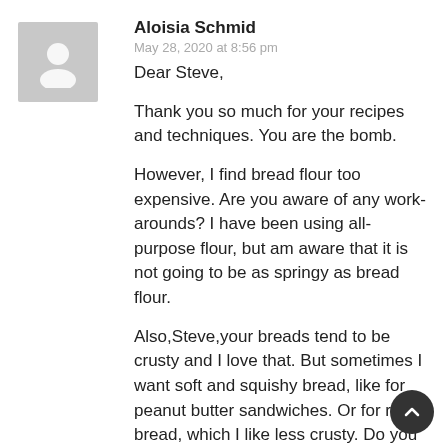Aloisia Schmid
May 28, 2020 at 8:56 pm
Dear Steve,

Thank you so much for your recipes and techniques. You are the bomb.

However, I find bread flour too expensive. Are you aware of any work-arounds? I have been using all-purpose flour, but am aware that it is not going to be as springy as bread flour.

Also,Steve,your breads tend to be crusty and I love that. But sometimes I want soft and squishy bread, like for peanut butter sandwiches. Or for raisin bread, which I like less crusty. Do you have any techniques for that?